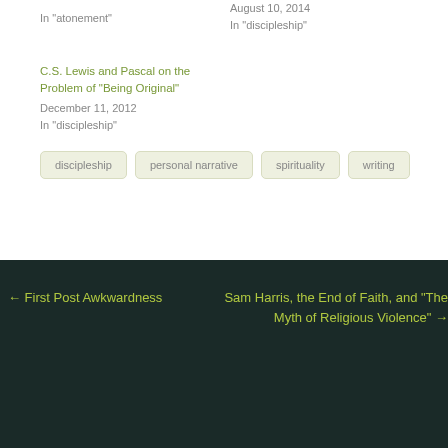In "atonement"
August 10, 2014
In "discipleship"
C.S. Lewis and Pascal on the Problem of “Being Original”
December 11, 2012
In "discipleship"
discipleship
personal narrative
spirituality
writing
← First Post Awkwardness
Sam Harris, the End of Faith, and “The Myth of Religious Violence” →